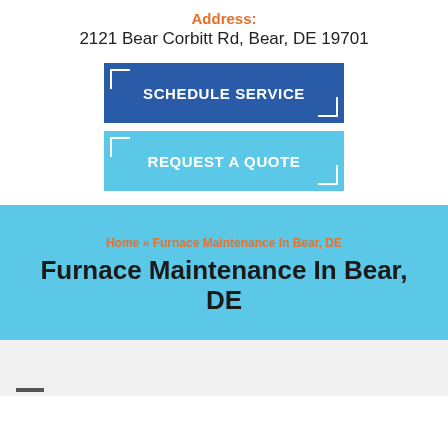Address:
2121 Bear Corbitt Rd, Bear, DE 19701
SCHEDULE SERVICE
REQUEST A QUOTE
Home » Furnace Maintenance In Bear, DE
Furnace Maintenance In Bear, DE